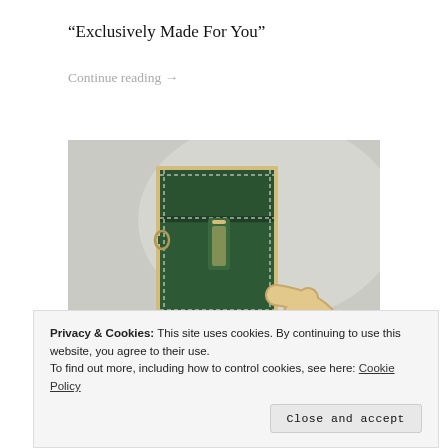“Exclusively Made For You”
Continue reading →
[Figure (photo): Green leather camera bag with white stitching and buckle clasp, with a leather strap visible. Shot against a light grey background.]
Privacy & Cookies: This site uses cookies. By continuing to use this website, you agree to their use.
To find out more, including how to control cookies, see here: Cookie Policy
Close and accept